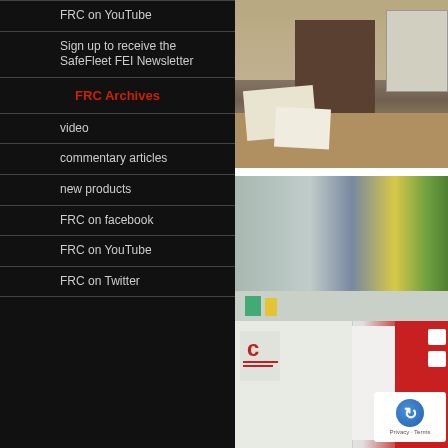FRC on YouTube
Sign up to receive the SafeFleet FEI Newsletter
FRC Archives
video
commentary articles
new products
FRC on facebook
FRC on YouTube
FRC on Twitter
[Figure (photo): Office desk scene with papers, partially visible furniture on warm-toned background]
[Figure (photo): Two photos: top shows filing/storage area with green and yellow background, bottom shows white folders/documents with red branding elements]
Privacy · Terms